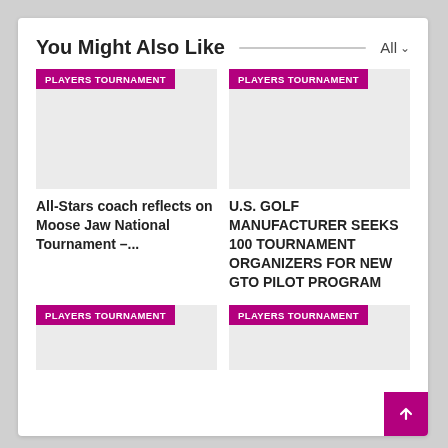You Might Also Like
[Figure (photo): Placeholder image with PLAYERS TOURNAMENT tag badge]
All-Stars coach reflects on Moose Jaw National Tournament –...
[Figure (photo): Placeholder image with PLAYERS TOURNAMENT tag badge]
U.S. GOLF MANUFACTURER SEEKS 100 TOURNAMENT ORGANIZERS FOR NEW GTO PILOT PROGRAM
[Figure (photo): Placeholder image with PLAYERS TOURNAMENT tag badge]
[Figure (photo): Placeholder image with PLAYERS TOURNAMENT tag badge]